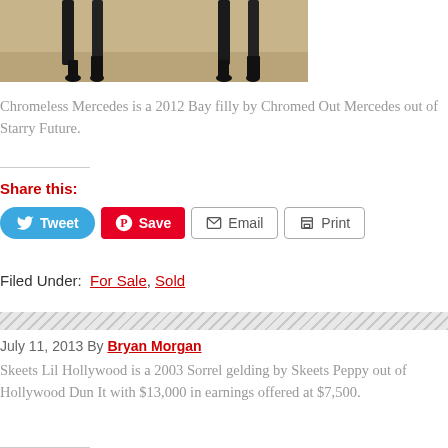[Figure (photo): Bottom portion of a horse photo showing legs and sandy/dirt ground, cropped at top of page]
Chromeless Mercedes is a 2012 Bay filly by Chromed Out Mercedes out of Starry Future.
Share this:
Filed Under: For Sale, Sold
July 11, 2013 By Bryan Morgan
Skeets Lil Hollywood is a 2003 Sorrel gelding by Skeets Peppy out of Hollywood Dun It with $13,000 in earnings offered at $7,500.